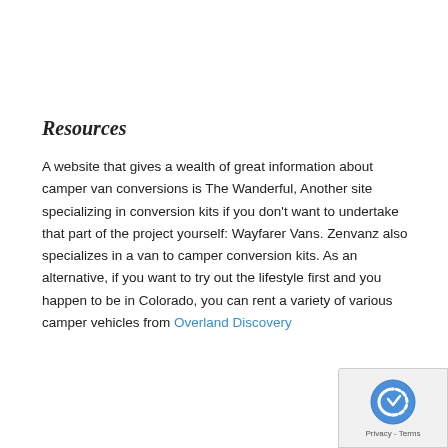Resources
A website that gives a wealth of great information about camper van conversions is The Wanderful, Another site specializing in conversion kits if you don't want to undertake that part of the project yourself: Wayfarer Vans. Zenvanz also specializes in a van to camper conversion kits. As an alternative, if you want to try out the lifestyle first and you happen to be in Colorado, you can rent a variety of various camper vehicles from Overland Discovery
[Figure (other): reCAPTCHA badge with Google logo and Privacy - Terms text]